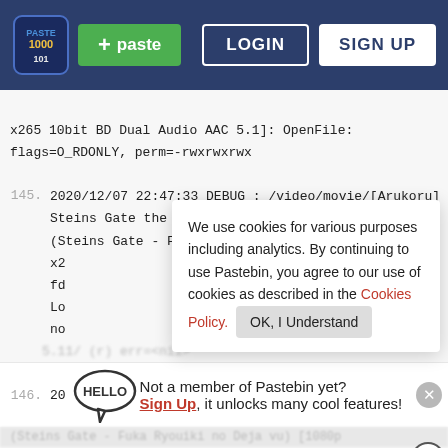[Figure (screenshot): Pastebin website screenshot showing navigation bar with logo, paste button, login and sign up buttons, monospace code lines with line numbers 145-147, a cookie consent banner, a site membership sign-up prompt with Hello bubble, and a Walgreens ad overlay.]
x265 10bit BD Dual Audio AAC 5.1]: OpenFile: flags=O_RDONLY, perm=-rwxrwxrwx
145. 2020/12/07 22:47:33 DEBUG : /video/movie/[Arukoru] Steins Gate the Movie - Load Region of Deja Vu (Steins Gate - Fuka Ryouiki no Deja vu) [1080p x2 fd Lo no
We use cookies for various purposes including analytics. By continuing to use Pastebin, you agree to our use of cookies as described in the Cookies Policy. OK, I Understand
5.11/ (r)  err=<nil>
146. 20 St Not a member of Pastebin yet? Sign Up, it unlocks many cool features!
(Steins Gate - Fuka Ryouiki no Deja vu) [1080p
Ashburn OPEN 8AM-10PM 20321 Susan Leslie Dr, Ashburn
147.